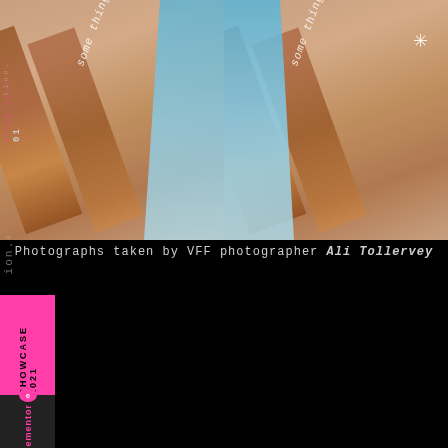[Figure (photo): Two side-by-side portrait photographs with diagonal text overlays reading 'some things can't be washed away', rust/brown diagonal stripe elements and blue geometric shapes. Part of VFF Showcase 2021 photography exhibition by Ali Tollervey.]
Photographs taken by VFF photographer Ali Tollervey
SHOWCASE 2021
elementor